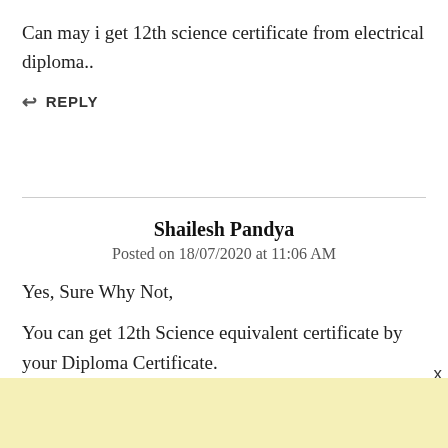Can may i get 12th science certificate from electrical diploma..
↩ REPLY
Shailesh Pandya
Posted on 18/07/2020 at 11:06 AM
Yes, Sure Why Not,
You can get 12th Science equivalent certificate by your Diploma Certificate.
For More Information Read My Article On
How to get 12th Equivalent Certificate: